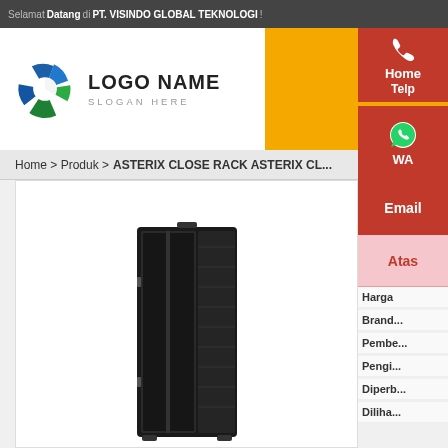Selamat Datang di PT. VISINDO GLOBAL TEKNOLOGI !
[Figure (logo): Circular logo with blue and green swirl design, text LOGO NAME and SLOGAN HERE]
Home   Telp
WA
Email
Home > Produk > ASTERIX CLOSE RACK ASTERIX CL...
[Figure (photo): Product photo of a black server rack cabinet (close rack)]
Atas
Harga
Brand
Pembeli
Pengi...
Diperb...
Diliha...